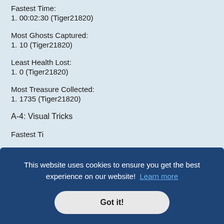Fastest Time:
1. 00:02:30 (Tiger21820)
Most Ghosts Captured:
1. 10 (Tiger21820)
Least Health Lost:
1. 0 (Tiger21820)
Most Treasure Collected:
1. 1735 (Tiger21820)
A-4: Visual Tricks
Fastest Ti... (partially visible, cut off by cookie banner)
This website uses cookies to ensure you get the best experience on our website! Learn more
Got it!